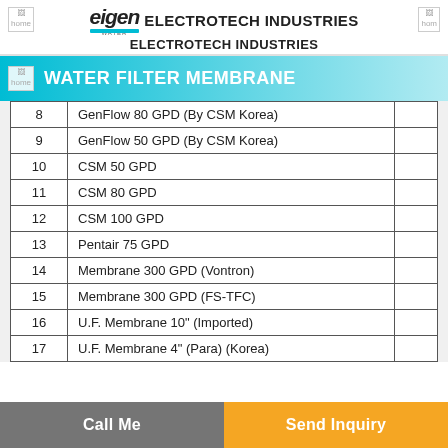eigen WATER  ELECTROTECH INDUSTRIES  ELECTROTECH INDUSTRIES
WATER FILTER MEMBRANE
| # | Product Name |  |
| --- | --- | --- |
| 8 | GenFlow 80 GPD (By CSM Korea) |  |
| 9 | GenFlow 50 GPD (By CSM Korea) |  |
| 10 | CSM 50 GPD |  |
| 11 | CSM 80 GPD |  |
| 12 | CSM 100 GPD |  |
| 13 | Pentair 75 GPD |  |
| 14 | Membrane 300 GPD (Vontron) |  |
| 15 | Membrane 300 GPD (FS-TFC) |  |
| 16 | U.F. Membrane 10" (Imported) |  |
| 17 | U.F. Membrane 4" (Para) (Korea) |  |
Call Me   Send Inquiry